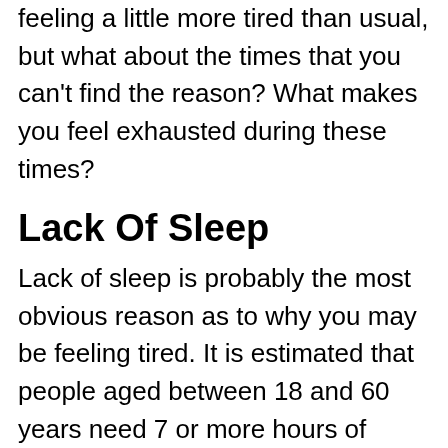feeling a little more tired than usual, but what about the times that you can't find the reason? What makes you feel exhausted during these times?
Lack Of Sleep
Lack of sleep is probably the most obvious reason as to why you may be feeling tired. It is estimated that people aged between 18 and 60 years need 7 or more hours of sleep every day for optimal health. Getting under the recommended hours can be associated